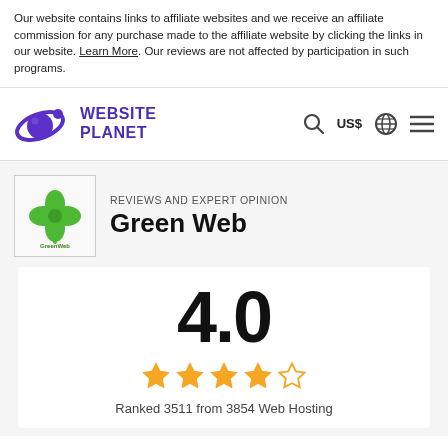Our website contains links to affiliate websites and we receive an affiliate commission for any purchase made to the affiliate website by clicking the links in our website. Learn More. Our reviews are not affected by participation in such programs.
[Figure (logo): Website Planet logo with purple planet/orbit icon and bold purple text 'WEBSITE PLANET']
[Figure (logo): Green Web logo with green shamrock/clover and text 'GreenWeb']
REVIEWS AND EXPERT OPINION
Green Web
4.0
[Figure (infographic): 4 filled gold stars and 1 empty star rating display]
Ranked 3511 from 3854 Web Hosting